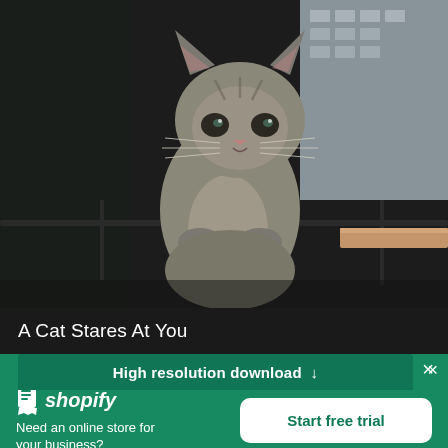[Figure (photo): A grey cat sitting on a metal railing by a window, looking directly at the camera. Background shows a building exterior through the window.]
A Cat Stares At You
High resolution download ↓
[Figure (logo): Shopify logo — shopping bag icon and italic wordmark 'shopify' in white on green background]
Need an online store for your business?
Start free trial